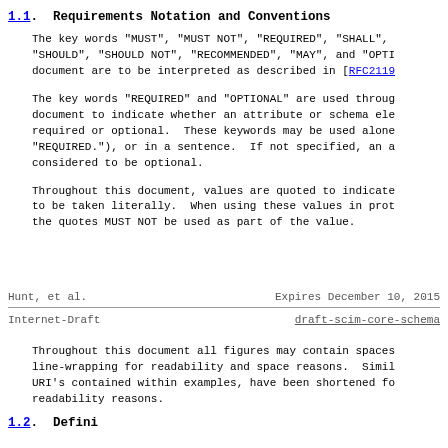1.1. Requirements Notation and Conventions
The key words "MUST", "MUST NOT", "REQUIRED", "SHALL", "SHOULD", "SHOULD NOT", "RECOMMENDED", "MAY", and "OPTI... document are to be interpreted as described in [RFC2119...
The key words "REQUIRED" and "OPTIONAL" are used throug... document to indicate whether an attribute or schema ele... required or optional. These keywords may be used alone... "REQUIRED."), or in a sentence. If not specified, an a... considered to be optional.
Throughout this document, values are quoted to indicate... to be taken literally. When using these values in prot... the quotes MUST NOT be used as part of the value.
Hunt, et al.          Expires December 10, 2015
Internet-Draft        draft-scim-core-schema
Throughout this document all figures may contain spaces... line-wrapping for readability and space reasons. Simil... URI's contained within examples, have been shortened fo... readability reasons.
1.2. Definitions